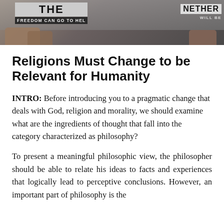[Figure (photo): Protest photo showing people holding signs. One sign reads 'FREEDOM CAN GO TO HEL' and another reads 'NETHER ... WILL BE']
Religions Must Change to be Relevant for Humanity
INTRO: Before introducing you to a pragmatic change that deals with God, religion and morality, we should examine what are the ingredients of thought that fall into the category characterized as philosophy?
To present a meaningful philosophic view, the philosopher should be able to relate his ideas to facts and experiences that logically lead to perceptive conclusions. However, an important part of philosophy is the...